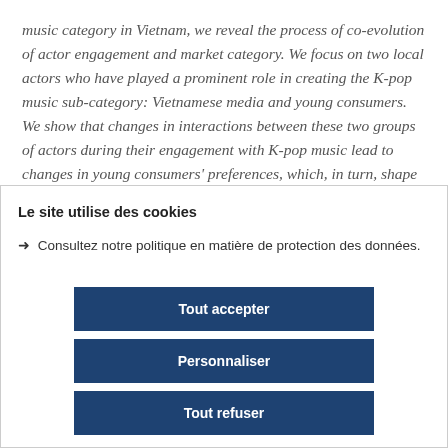music category in Vietnam, we reveal the process of co-evolution of actor engagement and market category. We focus on two local actors who have played a prominent role in creating the K-pop music sub-category: Vietnamese media and young consumers. We show that changes in interactions between these two groups of actors during their engagement with K-pop music lead to changes in young consumers' preferences, which, in turn, shape the
Le site utilise des cookies
→ Consultez notre politique en matière de protection des données.
Tout accepter
Personnaliser
Tout refuser